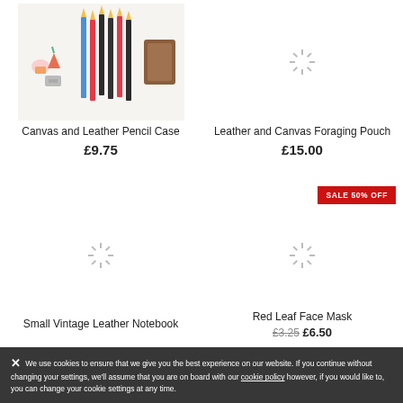[Figure (photo): Canvas and Leather Pencil Case product image showing colored pencils, sharpener, and decorative items on a white background]
Canvas and Leather Pencil Case
£9.75
[Figure (other): Loading spinner icon for Leather and Canvas Foraging Pouch product image]
Leather and Canvas Foraging Pouch
£15.00
SALE 50% OFF
[Figure (other): Loading spinner for Small Vintage Leather Notebook product image]
[Figure (other): Loading spinner for Red Leaf Face Mask product image]
Small Vintage Leather Notebook
Red Leaf Face Mask
£3.25 £6.50
We use cookies to ensure that we give you the best experience on our website. If you continue without changing your settings, we'll assume that you are on board with our cookie policy however, if you would like to, you can change your cookie settings at any time.